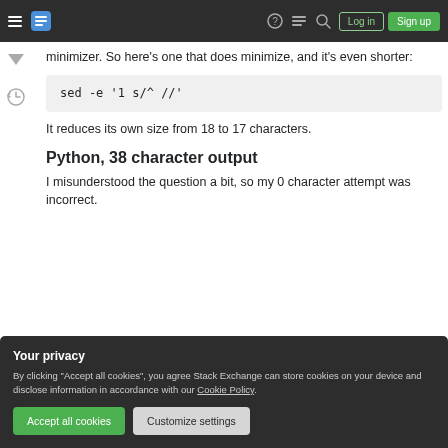Stack Exchange navigation bar with Log in and Sign up buttons
minimizer. So here's one that does minimize, and it's even shorter:
It reduces its own size from 18 to 17 characters.
Python, 38 character output
I misunderstood the question a bit, so my 0 character attempt was incorrect.
Your privacy
By clicking "Accept all cookies", you agree Stack Exchange can store cookies on your device and disclose information in accordance with our Cookie Policy.